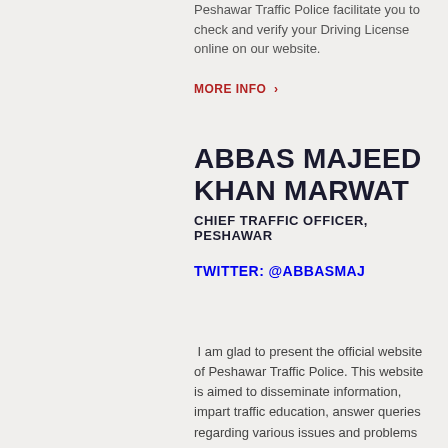Peshawar Traffic Police facilitate you to check and verify your Driving License online on our website.
MORE INFO ›
ABBAS MAJEED KHAN MARWAT
CHIEF TRAFFIC OFFICER, PESHAWAR
TWITTER: @ABBASMAJ
I am glad to present the official website of Peshawar Traffic Police. This website is aimed to disseminate information, impart traffic education, answer queries regarding various issues and problems and for getting feedback from the public...